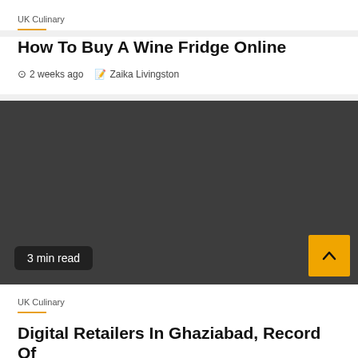UK Culinary
How To Buy A Wine Fridge Online
2 weeks ago   Zaika Livingston
[Figure (photo): Dark gray placeholder image block with '3 min read' badge in bottom-left and a gold scroll-to-top arrow button in bottom-right]
UK Culinary
Digital Retailers In Ghaziabad, Record Of